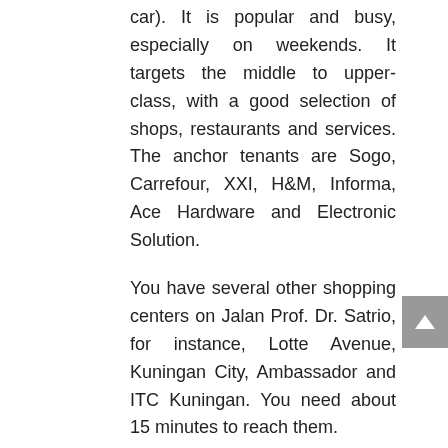car). It is popular and busy, especially on weekends. It targets the middle to upper-class, with a good selection of shops, restaurants and services. The anchor tenants are Sogo, Carrefour, XXI, H&M, Informa, Ace Hardware and Electronic Solution.
You have several other shopping centers on Jalan Prof. Dr. Satrio, for instance, Lotte Avenue, Kuningan City, Ambassador and ITC Kuningan. You need about 15 minutes to reach them.
Supermarkets:
Carrefour in Kota Kasablanka.
Restaurants:
There are a few warungs walking distance. For